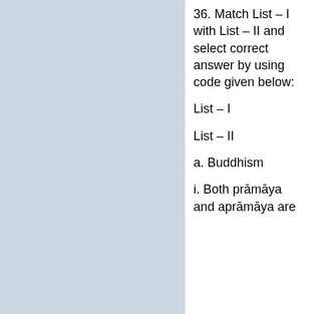36. Match List – I with List – II and select correct answer by using code given below:
List – I
List – II
a. Buddhism
i. Both prāmāya and aprāmāya are